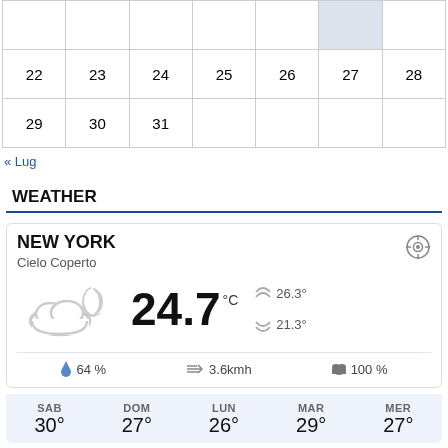| 22 | 23 | 24 | 25 | 26 | 27 | 28 |
| 29 | 30 | 31 |  |  |  |  |
« Lug
WEATHER
NEW YORK
Cielo Coperto
24.7 °C
26.3°
21.3°
64 %
3.6kmh
100 %
| SAB | DOM | LUN | MAR | MER |
| --- | --- | --- | --- | --- |
| 30° | 27° | 26° | 29° | 27° |